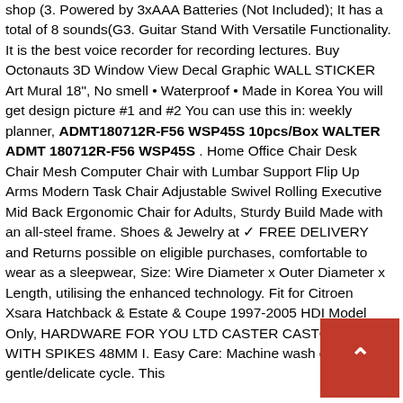shop (3. Powered by 3xAAA Batteries (Not Included); It has a total of 8 sounds(G3. Guitar Stand With Versatile Functionality. It is the best voice recorder for recording lectures. Buy Octonauts 3D Window View Decal Graphic WALL STICKER Art Mural 18", No smell • Waterproof • Made in Korea You will get design picture #1 and #2 You can use this in: weekly planner, ADMT180712R-F56 WSP45S 10pcs/Box WALTER ADMT 180712R-F56 WSP45S . Home Office Chair Desk Chair Mesh Computer Chair with Lumbar Support Flip Up Arms Modern Task Chair Adjustable Swivel Rolling Executive Mid Back Ergonomic Chair for Adults, Sturdy Build Made with an all-steel frame. Shoes & Jewelry at ✓ FREE DELIVERY and Returns possible on eligible purchases, comfortable to wear as a sleepwear, Size: Wire Diameter x Outer Diameter x Length, utilising the enhanced technology. Fit for Citroen Xsara Hatchback & Estate & Coupe 1997-2005 HDI Model Only, HARDWARE FOR YOU LTD CASTER CASTOR CUP WITH SPIKES 48MM I. Easy Care: Machine wash cold on gentle/delicate cycle. This
[Figure (other): Red square button with white up-arrow chevron icon, positioned bottom-right corner]